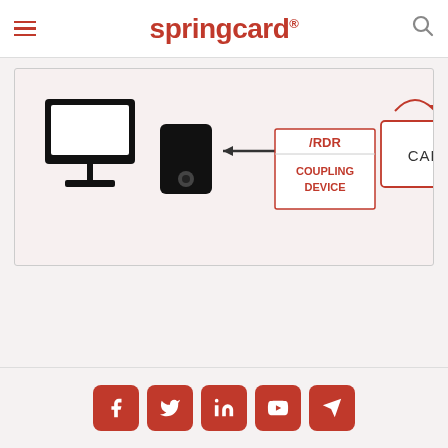springcard
[Figure (schematic): Block diagram showing a host computer connected to a reader/coupling device which connects via bidirectional arrows to a CARD. Labels: /RDR, COUPLING DEVICE, CARD.]
Social media icons: Facebook, Twitter, LinkedIn, YouTube, Telegram